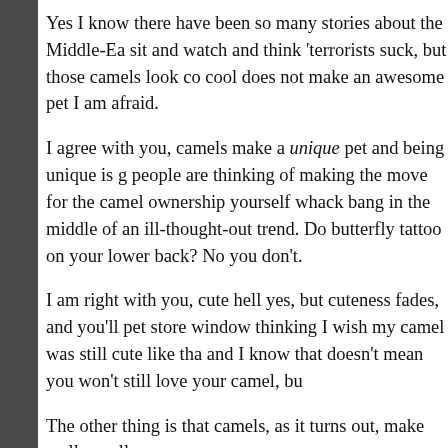Yes I know there have been so many stories about the Middle-Ea sit and watch and think 'terrorists suck, but those camels look co cool does not make an awesome pet I am afraid.
I agree with you, camels make a unique pet and being unique is g people are thinking of making the move for the camel ownership yourself whack bang in the middle of an ill-thought-out trend. Do butterfly tattoo on your lower back? No you don't.
I am right with you, cute hell yes, but cuteness fades, and you'll pet store window thinking I wish my camel was still cute like tha and I know that doesn't mean you won't still love your camel, bu
The other thing is that camels, as it turns out, make really, really
Ok here are some reasons you may not have thought of why cam
- They're kind of big. If you live in a studio apartment where you have a court yard or roof top garden, camels like to move camel, hey don't blame me, its fact, and if you thought horses